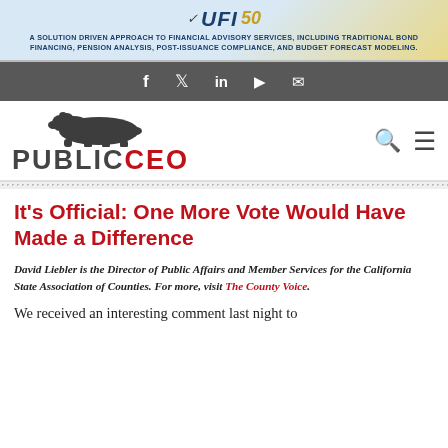[Figure (logo): UFI 50 banner advertisement with text: A SOLUTION DRIVEN APPROACH TO FINANCIAL ADVISORY SERVICES, INCLUDING TRADITIONAL BOND FINANCING, PENSION ANALYSIS, POST-ISSUANCE COMPLIANCE, AND BUDGET FORECAST MODELING.]
[Figure (infographic): Dark grey social media bar with icons for Facebook, Twitter, LinkedIn, YouTube, and Email]
[Figure (logo): PublicCEO website logo with California grizzly bear silhouette above the text PUBLIC in grey and CEO in red. Search and menu icons on right.]
It's Official: One More Vote Would Have Made a Difference
David Liebler is the Director of Public Affairs and Member Services for the California State Association of Counties. For more, visit The County Voice.
We received an interesting comment last night to